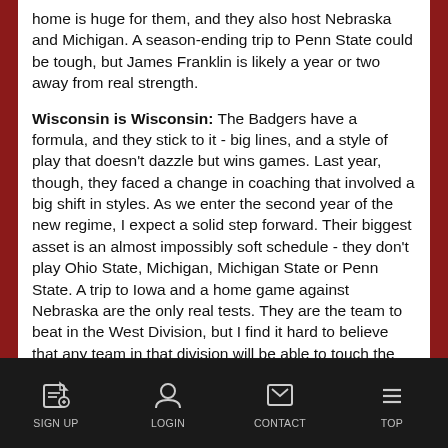home is huge for them, and they also host Nebraska and Michigan. A season-ending trip to Penn State could be tough, but James Franklin is likely a year or two away from real strength.
Wisconsin is Wisconsin: The Badgers have a formula, and they stick to it - big lines, and a style of play that doesn't dazzle but wins games. Last year, though, they faced a change in coaching that involved a big shift in styles. As we enter the second year of the new regime, I expect a solid step forward. Their biggest asset is an almost impossibly soft schedule - they don't play Ohio State, Michigan, Michigan State or Penn State. A trip to Iowa and a home game against Nebraska are the only real tests. They are the team to beat in the West Division, but I find it hard to believe that any team in that division will be able to touch the East champs - no matter which team that is.
Nebraska?: Storylines sure can change fast in college football...
SIGN UP  LOGIN  CONTACT  TOP